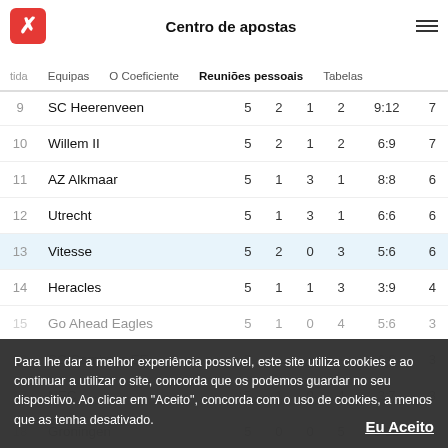Centro de apostas
| # | Team | P | W | D | L | GD | Pts |
| --- | --- | --- | --- | --- | --- | --- | --- |
| 9 | SC Heerenveen | 5 | 2 | 1 | 2 | 9:12 | 7 |
| 10 | Willem II | 5 | 2 | 1 | 2 | 6:9 | 7 |
| 11 | AZ Alkmaar | 5 | 1 | 3 | 1 | 8:8 | 6 |
| 12 | Utrecht | 5 | 1 | 3 | 1 | 6:6 | 6 |
| 13 | Vitesse | 5 | 2 | 0 | 3 | 5:6 | 6 |
| 14 | Heracles | 5 | 1 | 1 | 3 | 3:9 | 4 |
| 15 | Go Ahead Eagles | 5 | 1 | 0 | 4 | 5:6 | 3 |
| 16 | SC Cambuur-EE | 5 |  |  |  | 6:8 | 3 |
| 17 | NEC | 5 | 1 | 0 | 4 | 3:7 | 3 |
| 18 | Groningen | 5 | 0 | 0 | 5 | 3:12 | 0 |
Para lhe dar a melhor experiência possível, este site utiliza cookies e ao continuar a utilizar o site, concorda que os podemos guardar no seu dispositivo. Ao clicar em "Aceito", concorda com o uso de cookies, a menos que as tenha desativado.